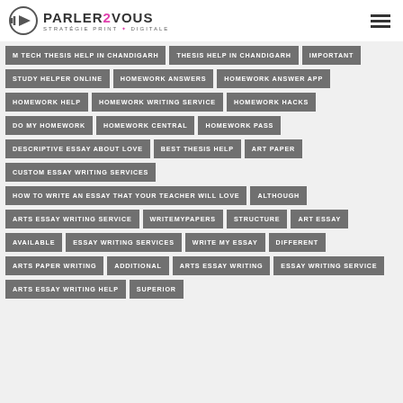PARLER2VOUS STRATÉGIE PRINT & DIGITALE
M TECH THESIS HELP IN CHANDIGARH
THESIS HELP IN CHANDIGARH
IMPORTANT
STUDY HELPER ONLINE
HOMEWORK ANSWERS
HOMEWORK ANSWER APP
HOMEWORK HELP
HOMEWORK WRITING SERVICE
HOMEWORK HACKS
DO MY HOMEWORK
HOMEWORK CENTRAL
HOMEWORK PASS
DESCRIPTIVE ESSAY ABOUT LOVE
BEST THESIS HELP
ART PAPER
CUSTOM ESSAY WRITING SERVICES
HOW TO WRITE AN ESSAY THAT YOUR TEACHER WILL LOVE
ALTHOUGH
ARTS ESSAY WRITING SERVICE
WRITEMYPAPERS
STRUCTURE
ART ESSAY
AVAILABLE
ESSAY WRITING SERVICES
WRITE MY ESSAY
DIFFERENT
ARTS PAPER WRITING
ADDITIONAL
ARTS ESSAY WRITING
ESSAY WRITING SERVICE
ARTS ESSAY WRITING HELP
SUPERIOR